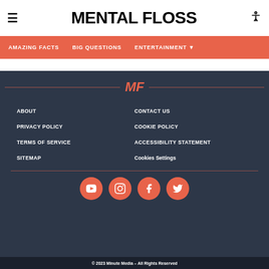MENTAL FLOSS
AMAZING FACTS  BIG QUESTIONS  ENTERTAINMENT
ABOUT
CONTACT US
PRIVACY POLICY
COOKIE POLICY
TERMS OF SERVICE
ACCESSIBILITY STATEMENT
SITEMAP
Cookies Settings
© 2023 Minute Media – All Rights Reserved